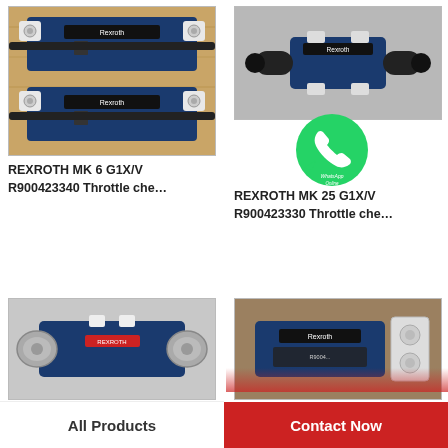[Figure (photo): Two Rexroth throttle check valve units photographed on wooden surface, top view showing blue body with white manifold connectors]
REXROTH MK 6 G1X/V
R900423340 Throttle che…
[Figure (photo): Rexroth throttle check valve unit on gray surface, side view showing blue body with black end fittings]
[Figure (photo): WhatsApp Online overlay icon (green circle with phone handset)]
REXROTH MK 25 G1X/V
R900423330 Throttle che…
[Figure (photo): Rexroth directional control valve, blue body with silver solenoids, side view]
[Figure (photo): Rexroth valve unit on brown surface, blue body with white manifold connector block]
All Products
Contact Now